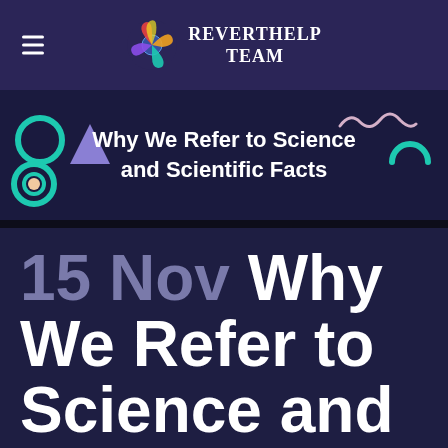RevertHelp Team
[Figure (illustration): Decorative banner with geometric shapes (teal circle, purple triangle, wavy line, teal arc, spiral) on dark navy background with title text: Why We Refer to Science and Scientific Facts]
15 Nov Why We Refer to Science and Scientific